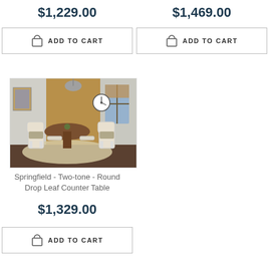$1,229.00
ADD TO CART
$1,469.00
ADD TO CART
[Figure (photo): Dining room scene showing a round drop leaf counter table with white chairs on a beige rug, pendant lamp, clock on wall, windows]
Springfield - Two-tone - Round Drop Leaf Counter Table
$1,329.00
ADD TO CART